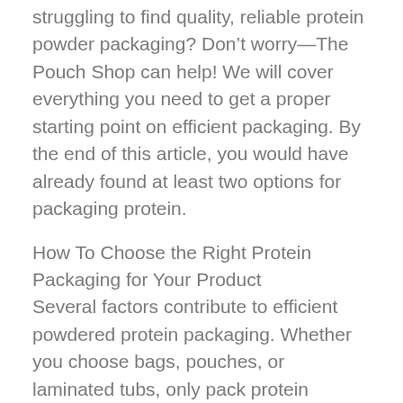struggling to find quality, reliable protein powder packaging? Don’t worry—The Pouch Shop can help! We will cover everything you need to get a proper starting point on efficient packaging. By the end of this article, you would have already found at least two options for packaging protein.
How To Choose the Right Protein Packaging for Your Product
Several factors contribute to efficient powdered protein packaging. Whether you choose bags, pouches, or laminated tubs, only pack protein powders in options that are:
Airtight